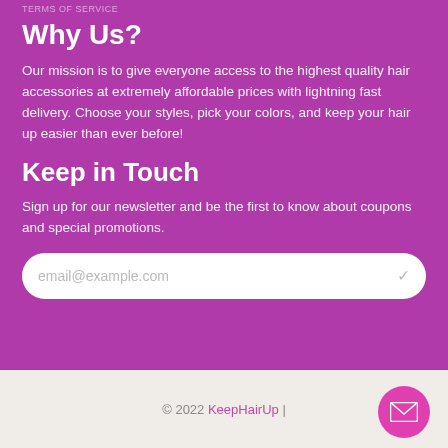TERMS OF SERVICE
Why Us?
Our mission is to give everyone access to the highest quality hair accessories at extremely affordable prices with lightning fast delivery. Choose your styles, pick your colors, and keep your hair up easier than ever before!
Keep in Touch
Sign up for our newsletter and be the first to know about coupons and special promotions.
email@example.com
© 2022 KeepHairUp |